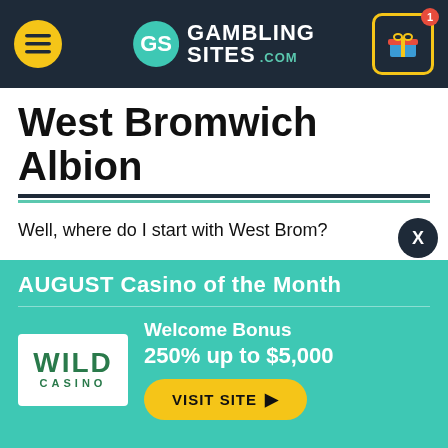GamblingSlots.com header navigation
West Bromwich Albion
Well, where do I start with West Brom?
The Baggies became the first Premier League side to sack their manager this season. Slaven Bilic was fired after failing to get the club out of the bottom three, with Sam Allardy
[Figure (infographic): AUGUST Casino of the Month promotional banner featuring Wild Casino with Welcome Bonus 250% up to $5,000 and a VISIT SITE button]